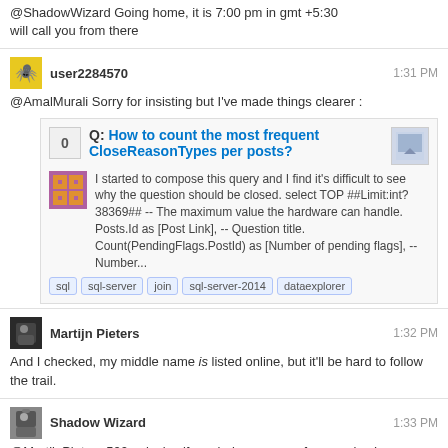@ShadowWizard Going home, it is 7:00 pm in gmt +5:30
will call you from there
user2284570 1:31 PM
@AmalMurali Sorry for insisting but I've made things clearer :
[Figure (screenshot): Stack Overflow question card: Q: How to count the most frequent CloseReasonTypes per posts? with tags sql, sql-server, join, sql-server-2014, dataexplorer]
Martijn Pieters 1:32 PM
And I checked, my middle name is listed online, but it'll be hard to follow the trail.
Shadow Wizard 1:33 PM
@MartijnPieters 500 unicoins if you bake me one of your cakes!
[Figure (photo): Photo of a white fluffy cake or food item on a dark surface]